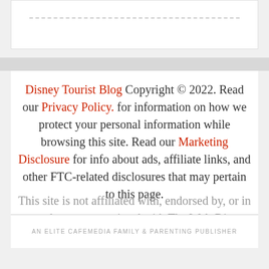Disney Tourist Blog Copyright © 2022. Read our Privacy Policy. for information on how we protect your personal information while browsing this site. Read our Marketing Disclosure for info about ads, affiliate links, and other FTC-related disclosures that may pertain to this page.
This site is not affiliated with, endorsed by, or in any other way associated with The Walt Disney Company. For official information concerning Disney, visit Disney.com.
AN ELITE CAFEMEDIA FAMILY & PARENTING PUBLISHER